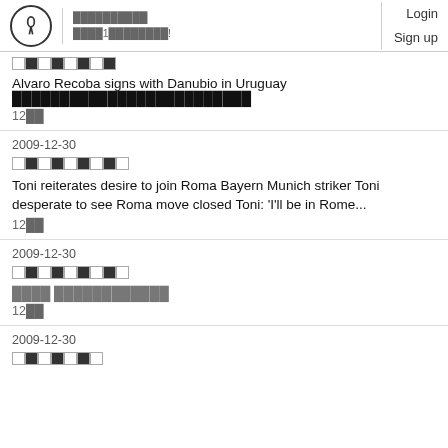Login Sign up
[Figure (other): Checkerboard tag/category icon strip]
Alvaro Recoba signs with Danubio in Uruguay [non-Latin text]
12[non-Latin]
2009-12-30
[Figure (other): Checkerboard tag/category icon strip]
Toni reiterates desire to join Roma Bayern Munich striker Toni desperate to see Roma move closed Toni: 'I'll be in Rome...
12[non-Latin]
2009-12-30
[Figure (other): Checkerboard tag/category icon strip]
[non-Latin text] [non-Latin text]
12[non-Latin]
2009-12-30
[Figure (other): Checkerboard tag/category icon strip]